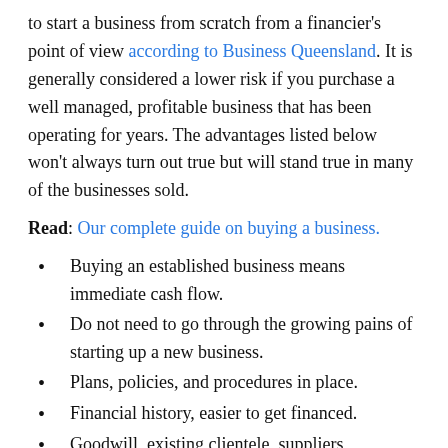to start a business from scratch from a financier's point of view according to Business Queensland. It is generally considered a lower risk if you purchase a well managed, profitable business that has been operating for years. The advantages listed below won't always turn out true but will stand true in many of the businesses sold.
Read: Our complete guide on buying a business.
Buying an established business means immediate cash flow.
Do not need to go through the growing pains of starting up a new business.
Plans, policies, and procedures in place.
Financial history, easier to get financed.
Goodwill, existing clientele, suppliers,